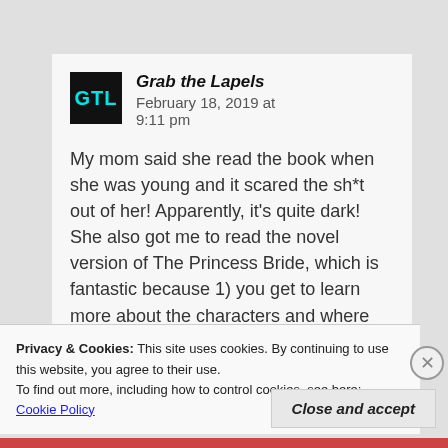[Figure (logo): GTL logo — black square with cyan text 'GTL']
Grab the Lapels   February 18, 2019 at 9:11 pm
My mom said she read the book when she was young and it scared the sh*t out of her! Apparently, it's quite dark! She also got me to read the novel version of The Princess Bride, which is fantastic because 1) you get to learn more about the characters and where they
Privacy & Cookies: This site uses cookies. By continuing to use this website, you agree to their use.
To find out more, including how to control cookies, see here: Cookie Policy
Close and accept